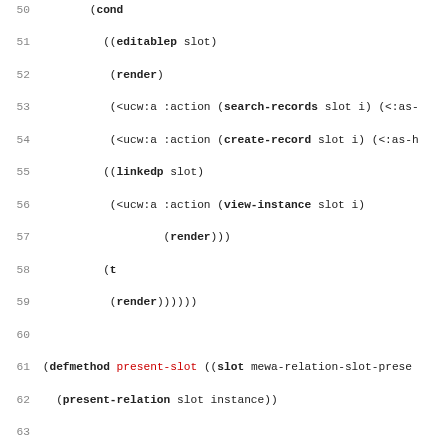[Figure (screenshot): Source code listing in a Lisp-like language (Common Lisp/UCW), showing lines 50-82 with syntax highlighting: keywords in bold, function names in red, comments in gray italic. Lines include defmethod, defslot-presentation, defaction blocks with indented code.]